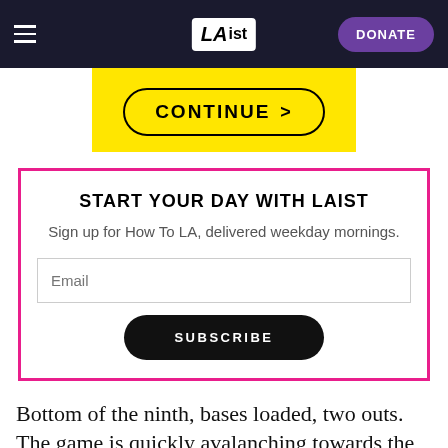LAist — DONATE
[Figure (screenshot): Yellow banner with CONTINUE > button]
START YOUR DAY WITH LAIST
Sign up for How To LA, delivered weekday mornings.
Email
SUBSCRIBE
Bottom of the ninth, bases loaded, two outs. The game is quickly avalanching towards the four-hour